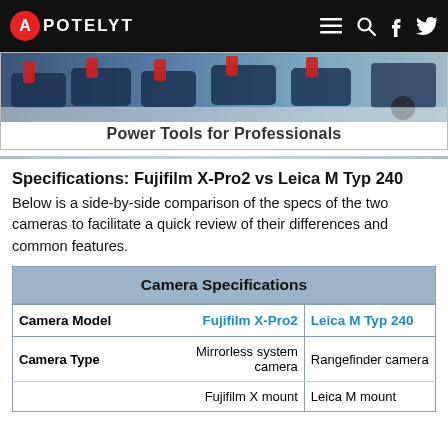APOTELYT
[Figure (photo): Advertisement banner showing power tools (drills) on a surface with text 'Power Tools for Professionals']
Specifications: Fujifilm X-Pro2 vs Leica M Typ 240
Below is a side-by-side comparison of the specs of the two cameras to facilitate a quick review of their differences and common features.
| Camera Specifications |  |  |
| --- | --- | --- |
| Camera Model | Fujifilm X-Pro2 | Leica M Typ 240 |
| Camera Type | Mirrorless system camera | Rangefinder camera |
|  | Fujifilm X mount | Leica M mount |